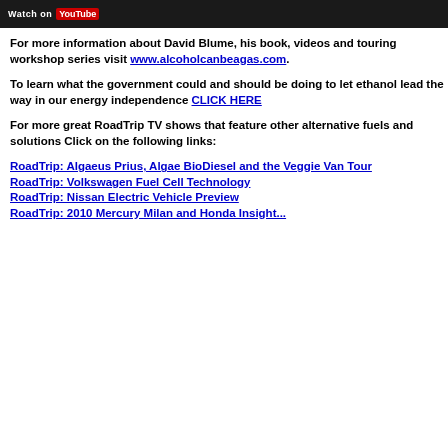[Figure (screenshot): Dark banner showing 'Watch on YouTube' button/logo at top of page]
For more information about David Blume, his book, videos and touring workshop series visit www.alcoholcanbeagas.com.
To learn what the government could and should be doing to let ethanol lead the way in our energy independence CLICK HERE
For more great RoadTrip TV shows that feature other alternative fuels and solutions Click on the following links:
RoadTrip: Algaeus Prius, Algae BioDiesel and the Veggie Van Tour
RoadTrip: Volkswagen Fuel Cell Technology
RoadTrip: Nissan Electric Vehicle Preview
RoadTrip: [truncated]